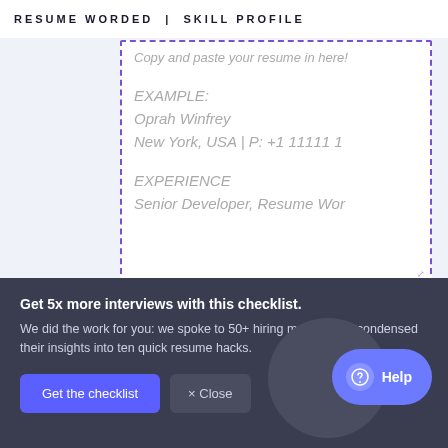RESUME WORDED  |  SKILL PROFILE
Copy and paste your resume in here!

EXAMPLE:
Oprah Winfrey
New York, USA | P: +1 11111 1

EXPERIENCE
Senior Developer, Resume Wor
MATCH YOUR RESUME
Get 5x more interviews with this checklist.
We did the work for you: we spoke to 50+ hiring managers + condensed their insights into ten quick resume hacks.
Get the checklist
× Close
Help